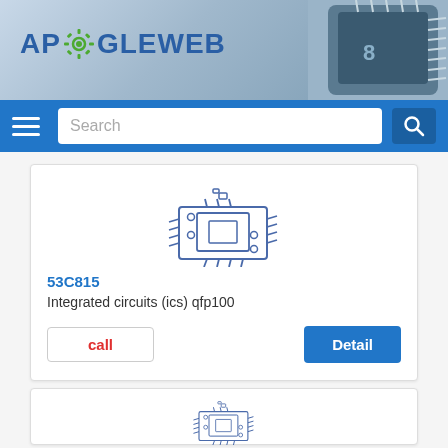[Figure (screenshot): ApogeWeb website header with logo showing AP gear GLEWEB text in blue, and a microchip photo in top-right corner]
[Figure (screenshot): Navigation bar with hamburger menu icon, search box, and search button on blue background]
[Figure (illustration): Line drawing icon of an integrated circuit chip component in blue outline style]
53C815
Integrated circuits (ics) qfp100
call
Detail
[Figure (illustration): Line drawing icon of an integrated circuit chip component in blue outline style, second card]